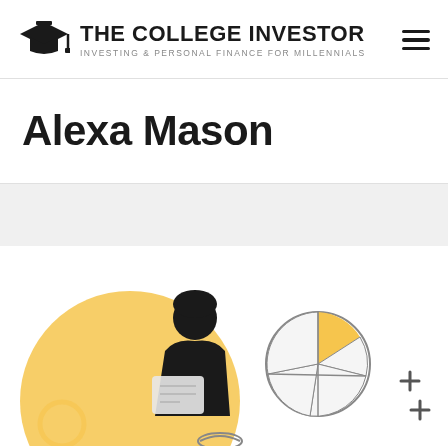[Figure (logo): The College Investor logo with graduation cap icon, title text 'THE COLLEGE INVESTOR' and subtitle 'INVESTING & PERSONAL FINANCE FOR MILLENNIALS', and a hamburger menu icon on the right]
Alexa Mason
[Figure (illustration): Flat illustration showing a person with dark hair holding papers against an orange/yellow circular background on the left, and a pie chart graphic with plus signs on the right, partially cropped at bottom]